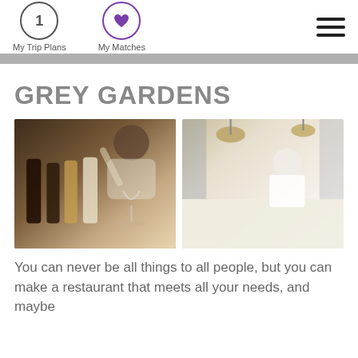My Trip Plans | My Matches
GREY GARDENS
[Figure (photo): Bearded man in grey beanie pouring wine into a glass, with multiple wine bottles arranged on a counter in foreground]
[Figure (photo): Chef in white uniform working at a bright modern kitchen counter/bar with pendant lights overhead]
You can never be all things to all people, but you can make a restaurant that meets all your needs, and maybe